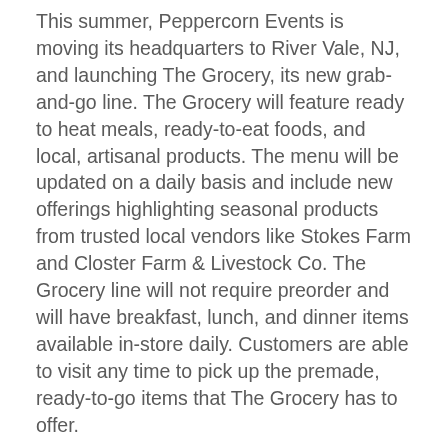This summer, Peppercorn Events is moving its headquarters to River Vale, NJ, and launching The Grocery, its new grab-and-go line. The Grocery will feature ready to heat meals, ready-to-eat foods, and local, artisanal products. The menu will be updated on a daily basis and include new offerings highlighting seasonal products from trusted local vendors like Stokes Farm and Closter Farm & Livestock Co. The Grocery line will not require preorder and will have breakfast, lunch, and dinner items available in-store daily. Customers are able to visit any time to pick up the premade, ready-to-go items that The Grocery has to offer.
Peppercorn Events’ new headquarters will be open Tuesday-Saturday and feature dine-in tables, baristas, and a tasting room. The space will also include specialty offerings from Paper Plane Coffee Co., Paromi Tea, Tiny